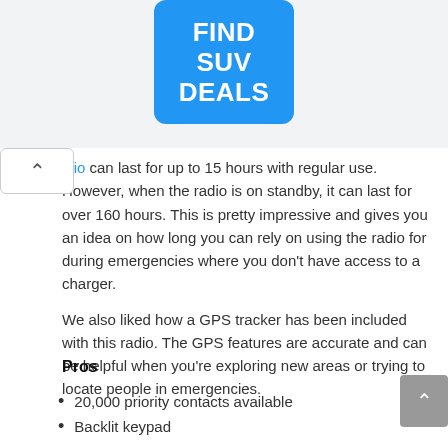[Figure (other): Blue button/ad banner with text FIND SUV DEALS]
idio can last for up to 15 hours with regular use. However, when the radio is on standby, it can last for over 160 hours. This is pretty impressive and gives you an idea on how long you can rely on using the radio for during emergencies where you don't have access to a charger.
We also liked how a GPS tracker has been included with this radio. The GPS features are accurate and can be helpful when you're exploring new areas or trying to locate people in emergencies.
Pros
20,000 priority contacts available
Backlit keypad